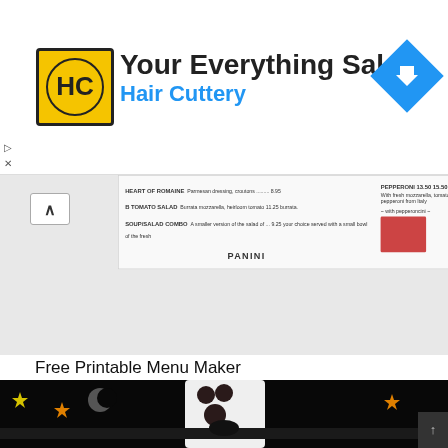[Figure (infographic): Hair Cuttery advertisement banner with logo, text 'Your Everything Salon / Hair Cuttery', and navigation arrow icon]
[Figure (screenshot): Screenshot of a Free Printable Menu Maker tool showing a sample menu with salad and panini sections]
Free Printable Menu Maker
[Figure (photo): Halloween ghost craft decoration: a white fabric ghost with dark eyes and mouth, tied with a black ribbon, on a dark background with colorful stars and crescent moon]